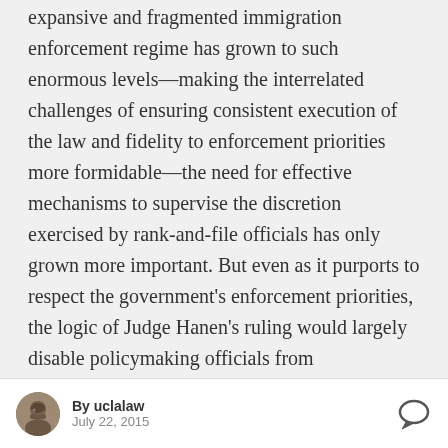expansive and fragmented immigration enforcement regime has grown to such enormous levels—making the interrelated challenges of ensuring consistent execution of the law and fidelity to enforcement priorities more formidable—the need for effective mechanisms to supervise the discretion exercised by rank-and-file officials has only grown more important. But even as it purports to respect the government's enforcement priorities, the logic of Judge Hanen's ruling would largely disable policymaking officials from implementing such mechanisms, requiring them instead to let the
By uclalaw · July 22, 2015